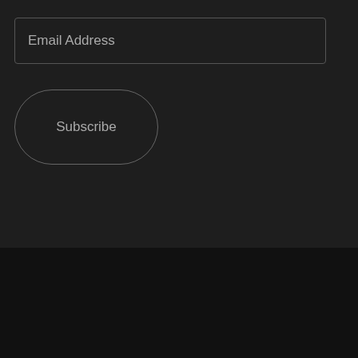Email Address
Subscribe
Bossable - From idea to boss, with fun and friendly tutorials and videos
© Bossable 2015 | Tech | Mean Stack | Contact Us | Privacy | Terms